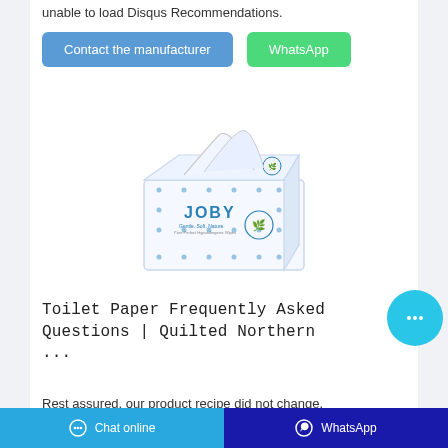unable to load Disqus Recommendations.
Contact the manufacturer
WhatsApp
[Figure (photo): JOBY brand tissue/wipe box product image, white box with blue dot pattern and blue JOBY logo, tissue sheets visible at top]
Toilet Paper Frequently Asked Questions | Quilted Northern ...
Rest assured, our product recipe did not change.
Chat online   WhatsApp